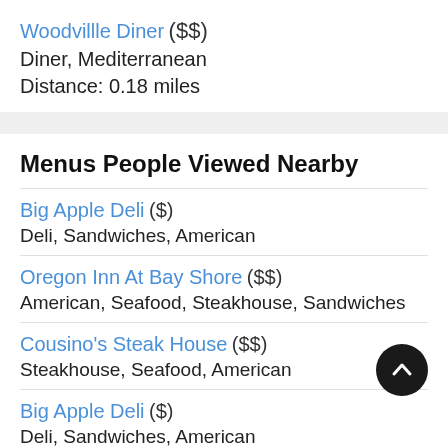Woodvillle Diner ($$)
Diner, Mediterranean
Distance: 0.18 miles
Menus People Viewed Nearby
Big Apple Deli ($)
Deli, Sandwiches, American
Oregon Inn At Bay Shore ($$)
American, Seafood, Steakhouse, Sandwiches
Cousino's Steak House ($$)
Steakhouse, Seafood, American
Big Apple Deli ($)
Deli, Sandwiches, American
Recent Restaurant Reviews